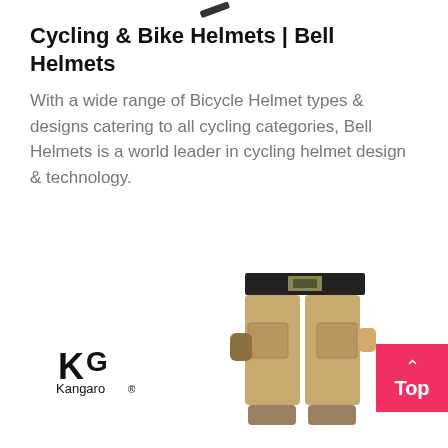[Figure (illustration): Pencil or stylus icon drawn in dark color at top center of page]
Cycling & Bike Helmets | Bell Helmets
With a wide range of Bicycle Helmet types & designs catering to all cycling categories, Bell Helmets is a world leader in cycling helmet design & technology.
[Figure (logo): KG Kangaro logo with stylized K and G letters above the text Kangaro with registered trademark symbol]
[Figure (photo): Person wearing khaki cargo pants and a dark belt, shown from waist down, with gloves visible]
[Figure (other): Pink/red button with upward caret arrow and the word Top in white text]